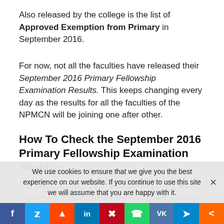Also released by the college is the list of Approved Exemption from Primary in September 2016.
For now, not all the faculties have released their September 2016 Primary Fellowship Examination Results. This keeps changing every day as the results for all the faculties of the NPMCN will be joining one after other.
How To Check the September 2016 Primary Fellowship Examination Results
It is easy to check your September 2016 Primary Fellowship Examination Results. All you need is an active data plan on your system.
Most of the doctors already know how to check the npmcn primary results. So to check your result simply click on the
We use cookies to ensure that we give you the best experience on our website. If you continue to use this site we will assume that you are happy with it.